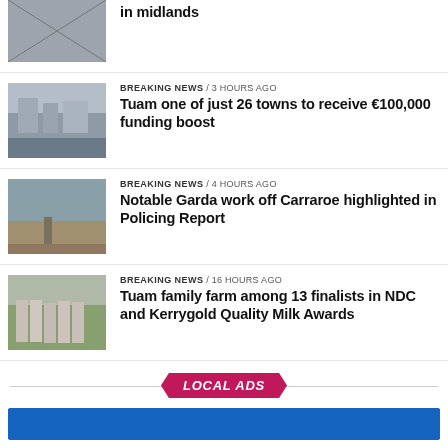[Figure (photo): Thumbnail photo, partial view - top item]
in midlands
[Figure (photo): Photo of a town street scene]
BREAKING NEWS / 3 hours ago
Tuam one of just 26 towns to receive €100,000 funding boost
[Figure (photo): Photo of a waterfront with a pier]
BREAKING NEWS / 4 hours ago
Notable Garda work off Carraroe highlighted in Policing Report
[Figure (photo): Photo of a group of people standing outdoors]
BREAKING NEWS / 16 hours ago
Tuam family farm among 13 finalists in NDC and Kerrygold Quality Milk Awards
LOCAL ADS
[Figure (photo): Blue banner/ad bar at bottom]